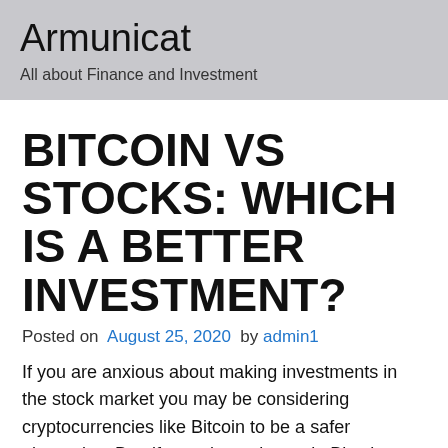Armunicat
All about Finance and Investment
BITCOIN VS STOCKS: WHICH IS A BETTER INVESTMENT?
Posted on August 25, 2020 by admin1
If you are anxious about making investments in the stock market you may be considering cryptocurrencies like Bitcoin to be a safer alternative. But, if you plan to invest in Bitcoins rather than stocks, it is necessary to assess your portfolio goals well and evaluate your risk tolerance. Once you weigh the pros and cons you will be in a better